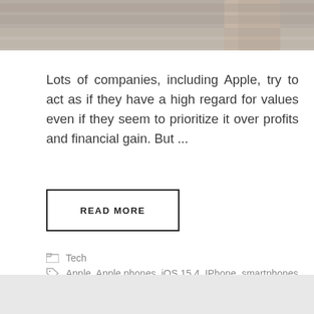[Figure (photo): Partial photo of a hand holding a smartphone against a brick wall background, cropped at the top of the page]
Lots of companies, including Apple, try to act as if they have a high regard for values even if they seem to prioritize it over profits and financial gain. But ...
READ MORE
Tech
Apple, Apple phones, iOS 15.4, IPhone, smartphones
Leave a comment